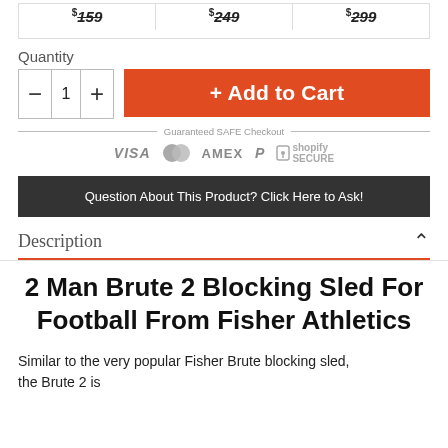[Figure (other): Price option boxes showing $159, $249, $299 at the top of the page (partially cropped)]
Quantity
[Figure (other): Quantity selector with minus button, 1, and plus button; and orange Add to Cart button]
[Figure (other): Guaranteed SAFE Checkout badge with VISA, Mastercard, AMEX, PayPal, Shopify Secure icons]
Question About This Product? Click Here to Ask!
Description
2 Man Brute 2 Blocking Sled For Football From Fisher Athletics
Similar to the very popular Fisher Brute blocking sled, the Brute 2 is an updated, less expensive, designed for...